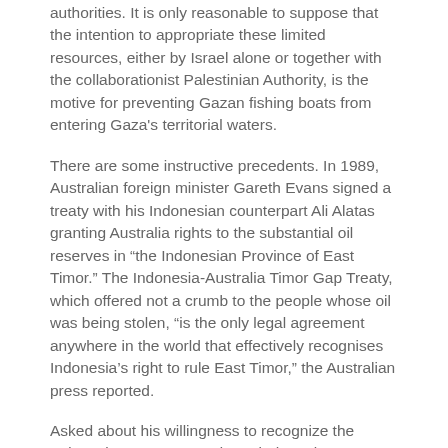authorities. It is only reasonable to suppose that the intention to appropriate these limited resources, either by Israel alone or together with the collaborationist Palestinian Authority, is the motive for preventing Gazan fishing boats from entering Gaza's territorial waters.
There are some instructive precedents. In 1989, Australian foreign minister Gareth Evans signed a treaty with his Indonesian counterpart Ali Alatas granting Australia rights to the substantial oil reserves in “the Indonesian Province of East Timor.” The Indonesia-Australia Timor Gap Treaty, which offered not a crumb to the people whose oil was being stolen, “is the only legal agreement anywhere in the world that effectively recognises Indonesia’s right to rule East Timor,” the Australian press reported.
Asked about his willingness to recognize the Indonesian conquest and to rob the sole resource of the conquered territory, which had been